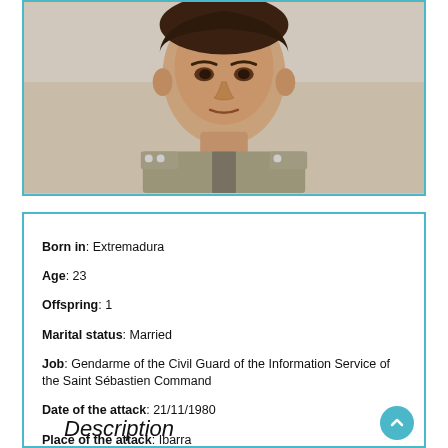[Figure (photo): Portrait photo of a young man in military/civil guard uniform, slightly tanned complexion, formal pose against light background]
Born in: Extremadura
Age: 23
Offspring: 1
Marital status: Married
Job: Gendarme of the Civil Guard of the Information Service of the Saint Sébastien Command
Date of the attack: 21/11/1980
Place of the attack: Ibarra
Weapon: Gun
Killed by: ETA-CCAA
Description